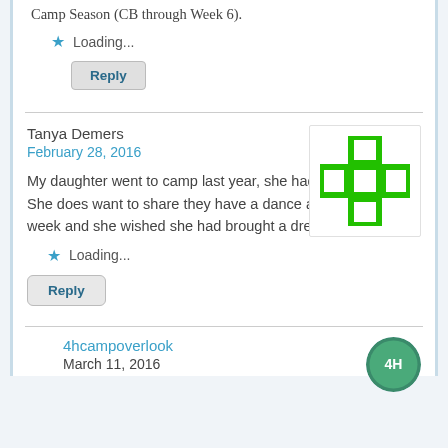Camp Season (CB through Week 6).
Loading...
Reply
Tanya Demers
February 28, 2016
My daughter went to camp last year, she had so much fun! She does want to share they have a dance at the end of the week and she wished she had brought a dress.
[Figure (logo): Green 4H cross/clover logo icon on white background]
Loading...
Reply
4hcampoverlook
March 11, 2016
[Figure (logo): Circular 4H camp overlook logo]